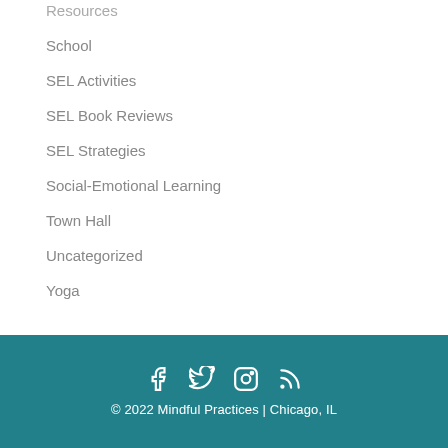Resources
School
SEL Activities
SEL Book Reviews
SEL Strategies
Social-Emotional Learning
Town Hall
Uncategorized
Yoga
© 2022 Mindful Practices | Chicago, IL